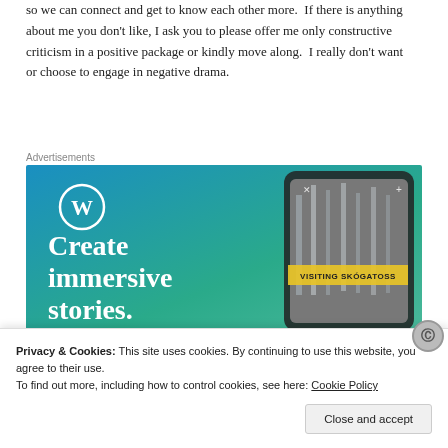so we can connect and get to know each other more.  If there is anything about me you don't like, I ask you to please offer me only constructive criticism in a positive package or kindly move along.  I really don't want or choose to engage in negative drama.
Advertisements
[Figure (screenshot): WordPress advertisement banner with blue-green gradient background, WordPress logo (white W in circle), a smartphone showing a waterfall story titled 'VISITING SKOGAFOSS', and large white text reading 'Create immersive stories.']
Privacy & Cookies: This site uses cookies. By continuing to use this website, you agree to their use.
To find out more, including how to control cookies, see here: Cookie Policy
Close and accept